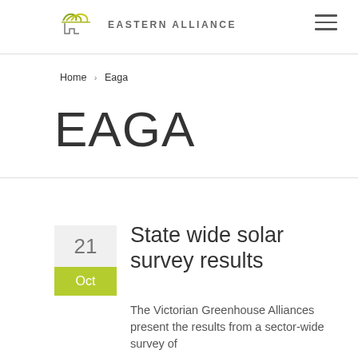EASTERN ALLIANCE
Home › Eaga
EAGA
21 Oct
State wide solar survey results
The Victorian Greenhouse Alliances present the results from a sector-wide survey of